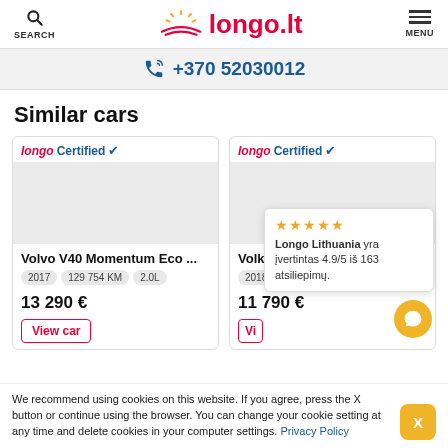SEARCH | longo.lt | MENU
+370 52030012
Similar cars
longo Certified ✓ | Volvo V40 Momentum Eco ... | 2017 | 129 754 KM | 2.0L | 13 290 € | View car
longo Certified ✓ | Volkswagen ... | 2018 | 178 887 KM | 1.0L | 11 790 € | Vi...
[Figure (infographic): Rating popup showing 5 yellow stars and text: Longo Lithuania yra įvertintas 4.9/5 iš 163 atsiliepimų.]
We recommend using cookies on this website. If you agree, press the X button or continue using the browser. You can change your cookie setting at any time and delete cookies in your computer settings. Privacy Policy